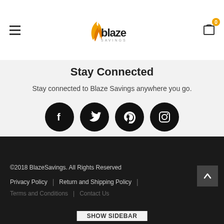[Figure (logo): Blaze Savings logo with orange flame and dark text]
Stay Connected
Stay connected to Blaze Savings anywhere you go.
[Figure (infographic): Four social media icons: Facebook, Twitter, Pinterest, Instagram]
©2018 BlazeSavings. All Rights Reserved
Privacy Policy | Return and Shipping Policy
Terms and Conditions | Contact Us
SHOW SIDEBAR